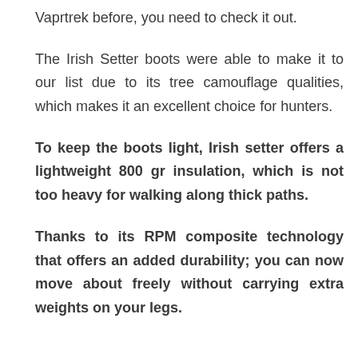Vaprtrek before, you need to check it out.
The Irish Setter boots were able to make it to our list due to its tree camouflage qualities, which makes it an excellent choice for hunters.
To keep the boots light, Irish setter offers a lightweight 800 gr insulation, which is not too heavy for walking along thick paths.
Thanks to its RPM composite technology that offers an added durability; you can now move about freely without carrying extra weights on your legs.